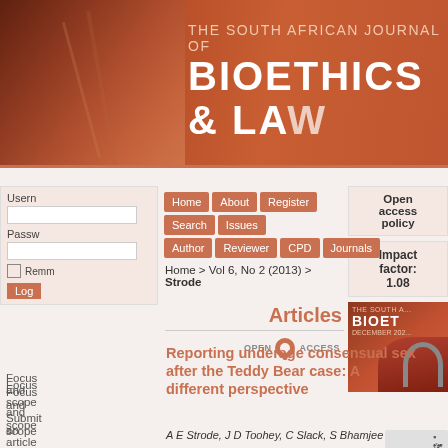THE SOUTH AFRICAN JOURNAL OF BIOETHICS & LAW
[Figure (screenshot): Website screenshot of The South African Journal of Bioethics and Law journal page]
Home > Vol 6, No 2 (2013) > Strode
Open access policy
Impact factor: 1.08
Articles
Reporting underage consensual sex after the Teddy Bear case: A different perspective
A E Strode, J D Toohey, C Slack, S Bhamjee
Focus and scope
Submit an article
Receive notifications
Support
Contact